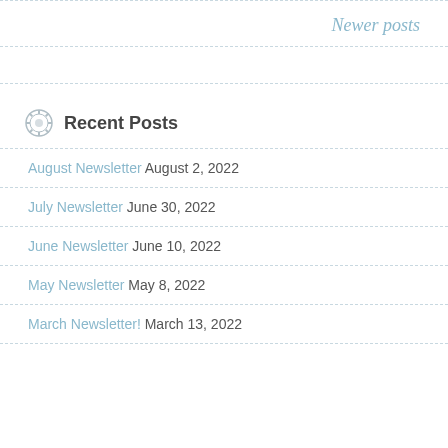Newer posts
August Newsletter August 2, 2022
July Newsletter June 30, 2022
June Newsletter June 10, 2022
May Newsletter May 8, 2022
March Newsletter! March 13, 2022